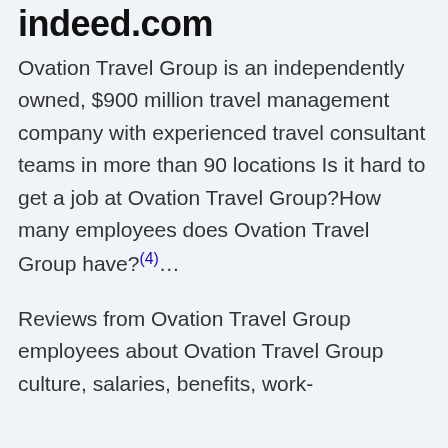indeed.com
Ovation Travel Group is an independently owned, $900 million travel management company with experienced travel consultant teams in more than 90 locations Is it hard to get a job at Ovation Travel Group?How many employees does Ovation Travel Group have?(4)…
Reviews from Ovation Travel Group employees about Ovation Travel Group culture, salaries, benefits, work-